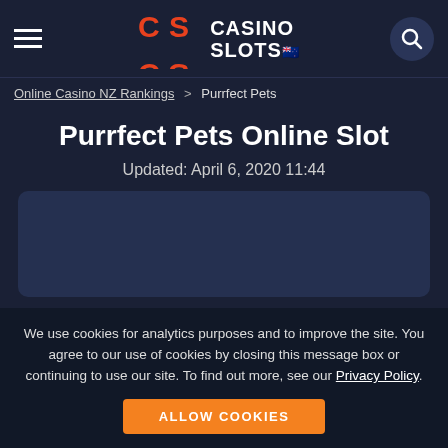Casino Slots NZ
Online Casino NZ Rankings > Purrfect Pets
Purrfect Pets Online Slot
Updated: April 6, 2020 11:44
[Figure (screenshot): Game preview area placeholder — dark rounded rectangle]
We use cookies for analytics purposes and to improve the site. You agree to our use of cookies by closing this message box or continuing to use our site. To find out more, see our Privacy Policy.
ALLOW COOKIES